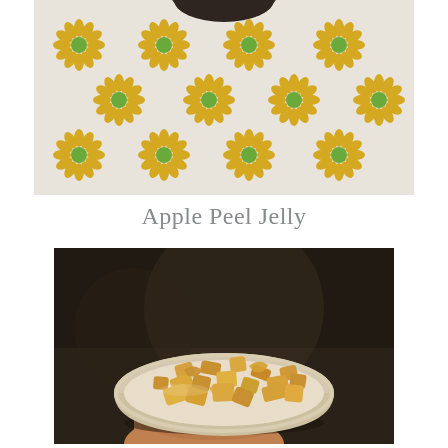[Figure (photo): Close-up photo of a white fabric/tablecloth with a yellow daisy flower pattern and green centers, with what appears to be a dark round object partially visible at the top edge.]
Apple Peel Jelly
[Figure (photo): A hand holding a round white bowl filled with small dried/candied apple peel pieces — light golden-yellow, sugary-looking cubes and curled strips — against a dark blurred background.]